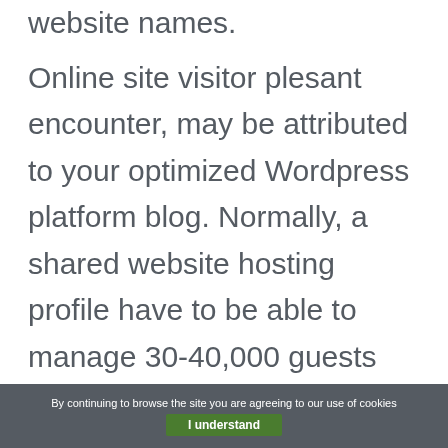website names.
Online site visitor plesant encounter, may be attributed to your optimized Wordpress platform blog. Normally, a shared website hosting profile have to be able to manage 30-40,000 guests per month. In case you imagine your webpage to develop radically in the next year or two, later choose an internet host
By continuing to browse the site you are agreeing to our use of cookies  I understand